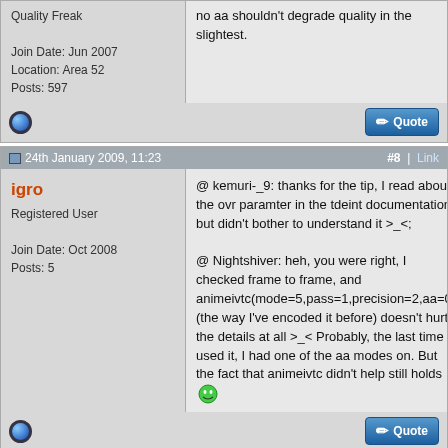Quality Freak
Join Date: Jun 2007
Location: Area 52
Posts: 597
no aa shouldn't degrade quality in the slightest.
24th January 2009, 11:23  #8 | Link
igro
Registered User
Join Date: Oct 2008
Posts: 5
@ kemuri-_9: thanks for the tip, I read about the ovr paramter in the tdeint documentation but didn't bother to understand it >_<;

@ Nightshiver: heh, you were right, I checked frame to frame, and animeivtc(mode=5,pass=1,precision=2,aa=0) (the way I've encoded it before) doesn't hurt the details at all >_< Probably, the last time I used it, I had one of the aa modes on. But the fact that animeivtc didn't help still holds
24th January 2009, 16:02  #9 | Link
Nightshiver
Quality Freak
How did it not help?